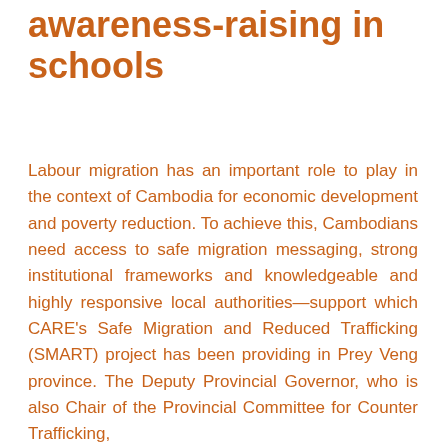awareness-raising in schools
Labour migration has an important role to play in the context of Cambodia for economic development and poverty reduction. To achieve this, Cambodians need access to safe migration messaging, strong institutional frameworks and knowledgeable and highly responsive local authorities—support which CARE's Safe Migration and Reduced Trafficking (SMART) project has been providing in Prey Veng province. The Deputy Provincial Governor, who is also Chair of the Provincial Committee for Counter Trafficking,